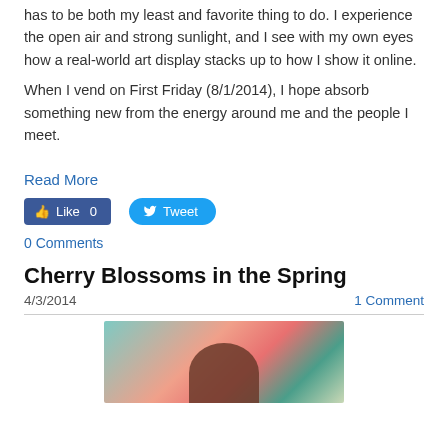has to be both my least and favorite thing to do. I experience the open air and strong sunlight, and I see with my own eyes how a real-world art display stacks up to how I show it online.
When I vend on First Friday (8/1/2014), I hope absorb something new from the energy around me and the people I meet.
Read More
[Figure (other): Facebook Like button showing 0 likes and Twitter Tweet button]
0 Comments
Cherry Blossoms in the Spring
4/3/2014    1 Comment
[Figure (illustration): Colorful illustration of a figure with dark hair against a teal, pink and red artistic background, cropped at bottom of page]